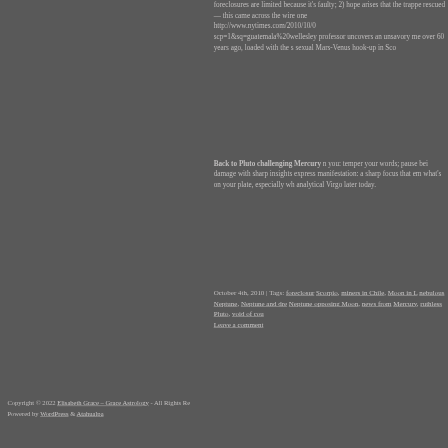foreclosures are limited because it's faulty; 2) hope arises that the trapped are rescued — this came across the wire one http://www.nytimes.com/2010/10/02/... scp=1&sq=guatemala%20wellesley professor uncovers an unsavory me... over 60 years ago, loaded with the s... sexual Mars-Venus hook-up in Sco...
Back to Pluto challenging Mercury n... you: temper your words; pause bef... damage with sharp insights express... manifestation: a sharp focus that em... what's on your plate, especially wh... analytical Virgo later today.
October 4th, 2010 | Tags: foreclosure, Scorpio, miners in Chile, Moon in L..., nebulous Neptune, Neptune and dre..., Neptune opposing Moon, news from..., Mercury, ruthless Pluto, void of cou... Leave a comment
Copyright © 2022 Elisabeth Grace – Grace Astrology - All Rights Re... Powered by WordPress & Atahualpa